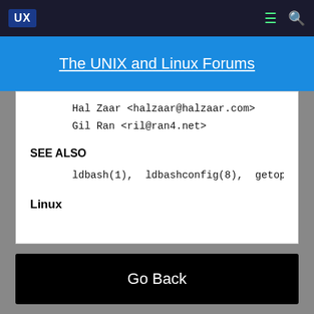UX | The UNIX and Linux Forums
The UNIX and Linux Forums
Hal Zaar <halzaar@halzaar.com>
Gil Ran <ril@ran4.net>
SEE ALSO
ldbash(1),  ldbashconfig(8),  getopts(1),  hashstash(
Linux
Go Back